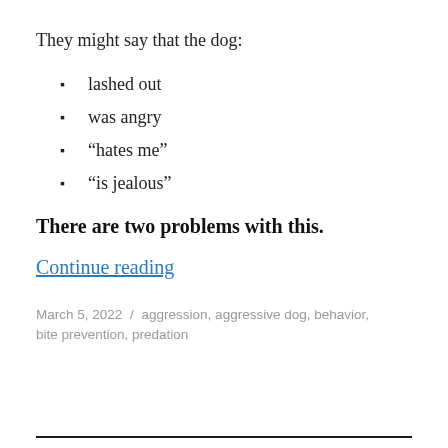They might say that the dog:
lashed out
was angry
“hates me”
“is jealous”
There are two problems with this.
Continue reading
March 5, 2022 / aggression, aggressive dog, behavior, bite prevention, predation